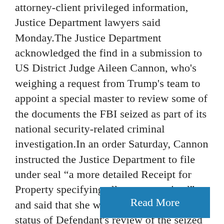attorney-client privileged information, Justice Department lawyers said Monday.The Justice Department acknowledged the find in a submission to US District Judge Aileen Cannon, who's weighing a request from Trump's team to appoint a special master to review some of the documents the FBI seized as part of its national security-related criminal investigation.In an order Saturday, Cannon instructed the Justice Department to file under seal “a more detailed Receipt for Property specifying all property seized” and said that she wanted to be told “the status of Defendant's review of the seized property, including any filter review conducted by the privilege review ...
Read More